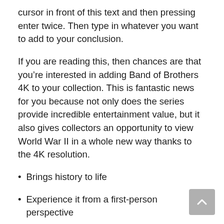cursor in front of this text and then pressing enter twice. Then type in whatever you want to add to your conclusion.
If you are reading this, then chances are that you’re interested in adding Band of Brothers 4K to your collection. This is fantastic news for you because not only does the series provide incredible entertainment value, but it also gives collectors an opportunity to view World War II in a whole new way thanks to the 4K resolution.
Brings history to life
Experience it from a first-person perspective